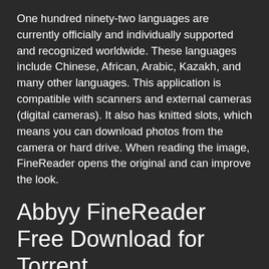One hundred ninety-two languages are currently officially and individually supported and recognized worldwide. These languages include Chinese, African, Arabic, Kazakh, and many other languages. This application is compatible with scanners and external cameras (digital cameras). It also has knitted slots, which means you can download photos from the camera or hard drive. When reading the image, FineReader opens the original and can improve the look.
Abbyy FineReader Free Download for Torrent
ABBYY FineReader Free Download You can translate signatures (photos, documents, and PDF) into structured digital formats. Good practices, Microsoft Word, Microsoft